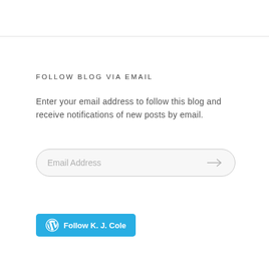FOLLOW BLOG VIA EMAIL
Enter your email address to follow this blog and receive notifications of new posts by email.
[Figure (screenshot): Email address input field with rounded border and arrow icon on right side, placeholder text 'Email Address']
[Figure (screenshot): Blue button with WordPress logo icon and text 'Follow K. J. Cole']